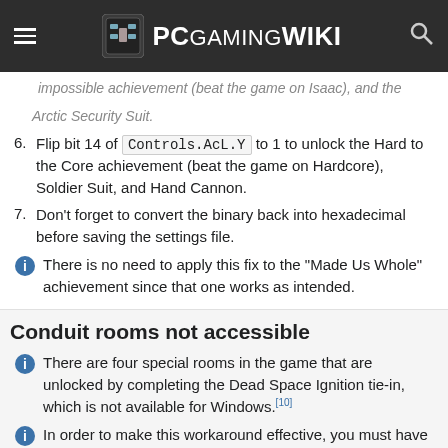PCGamingWiki
impossible achievement (beat the game on Isaac), and the Arctic Security Suit.
Flip bit 14 of Controls.AcL.Y to 1 to unlock the Hard to the Core achievement (beat the game on Hardcore), Soldier Suit, and Hand Cannon.
Don't forget to convert the binary back into hexadecimal before saving the settings file.
There is no need to apply this fix to the "Made Us Whole" achievement since that one works as intended.
Conduit rooms not accessible
There are four special rooms in the game that are unlocked by completing the Dead Space Ignition tie-in, which is not available for Windows.[10]
In order to make this workaround effective, you must have beaten the game at least once.
Use unlocker (batch method)[11]
Download Dead Space 2 Conduit for PC (PCGW mirror)
Extract the contents to the installation folder.